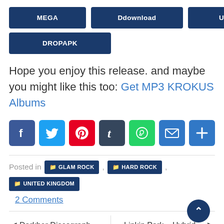[Figure (other): Download buttons: MEGA, Ddownload, UPTOBOX, DROPAPK]
Hope you enjoy this release. and maybe you might like this too: Get MP3 KROKUS Albums
[Figure (other): Social share icons: Facebook, Twitter, Pinterest, Tumblr, WhatsApp, Email, More]
Posted in GLAM ROCK, HARD ROCK, UNITED KINGDOM
2 Comments
Darkher Discograph... | Linkin Park – Hybrid ...